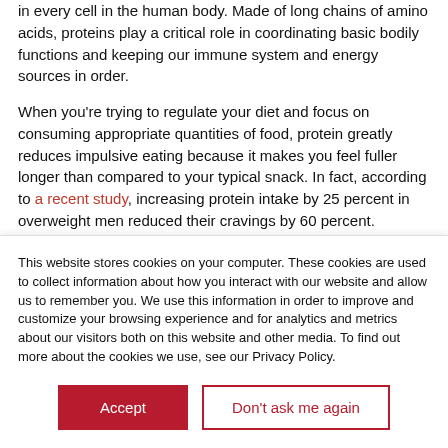in every cell in the human body. Made of long chains of amino acids, proteins play a critical role in coordinating basic bodily functions and keeping our immune system and energy sources in order.
When you're trying to regulate your diet and focus on consuming appropriate quantities of food, protein greatly reduces impulsive eating because it makes you feel fuller longer than compared to your typical snack. In fact, according to a recent study, increasing protein intake by 25 percent in overweight men reduced their cravings by 60 percent.
All that said, it's good to focus more on the quality of your [continues below fold]
This website stores cookies on your computer. These cookies are used to collect information about how you interact with our website and allow us to remember you. We use this information in order to improve and customize your browsing experience and for analytics and metrics about our visitors both on this website and other media. To find out more about the cookies we use, see our Privacy Policy.